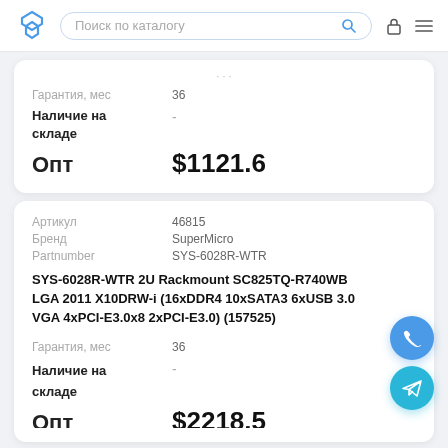Поиск по каталогу
Гарантия, мес 36
Наличие на складе -
Опт $1121.6
| Артикул | 46815 |
| --- | --- |
| Бренд | SuperMicro |
| Partnumber | SYS-6028R-WTR |
SYS-6028R-WTR 2U Rackmount SC825TQ-R740WB LGA 2011 X10DRW-i (16xDDR4 10xSATA3 6xUSB 3.0 VGA 4xPCI-E3.0x8 2xPCI-E3.0) (157525)
Гарантия, мес 36
Наличие на складе -
Опт $2218.5